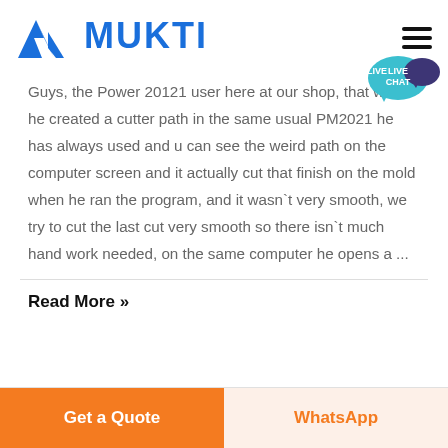MUKTI
Guys, the Power 20121 user here at our shop, that when he created a cutter path in the same usual PM2021 he has always used and u can see the weird path on the computer screen and it actually cut that finish on the mold when he ran the program, and it wasn`t very smooth, we try to cut the last cut very smooth so there isn`t much hand work needed, on the same computer he opens a ...
Read More »